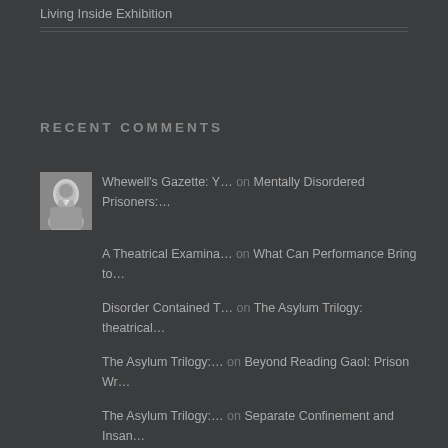Living Inside Exhibition
RECENT COMMENTS
Whewell's Gazette: Y… on Mentally Disordered Prisoners:…
A Theatrical Examina… on What Can Performance Bring to…
Disorder Contained T… on The Asylum Trilogy: theatrical…
The Asylum Trilogy:… on Beyond Reading Gaol: Prison Wr…
The Asylum Trilogy:… on Separate Confinement and Insan…